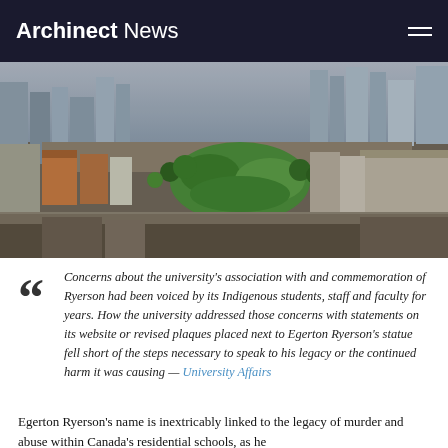Archinect News
[Figure (photo): Aerial view of an urban university campus surrounded by city skyscrapers, with greenery visible in the campus center]
Concerns about the university's association with and commemoration of Ryerson had been voiced by its Indigenous students, staff and faculty for years. How the university addressed those concerns with statements on its website or revised plaques placed next to Egerton Ryerson's statue fell short of the steps necessary to speak to his legacy or the continued harm it was causing — University Affairs
Egerton Ryerson's name is inextricably linked to the legacy of murder and abuse within Canada's residential schools, as he